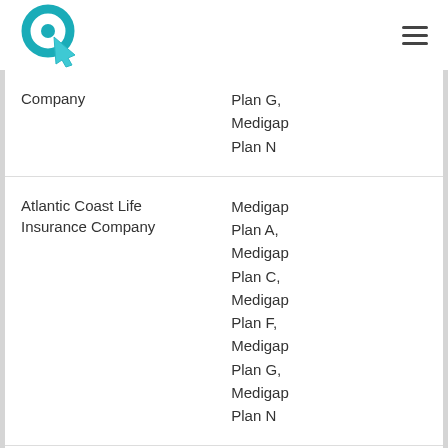Logo and navigation
| Company | Plans |
| --- | --- |
| [partial - Company] | Plan G, Medigap Plan N |
| Atlantic Coast Life Insurance Company | Medigap Plan A, Medigap Plan C, Medigap Plan F, Medigap Plan G, Medigap Plan N |
| [partial - next company] | Medigap Plan... |